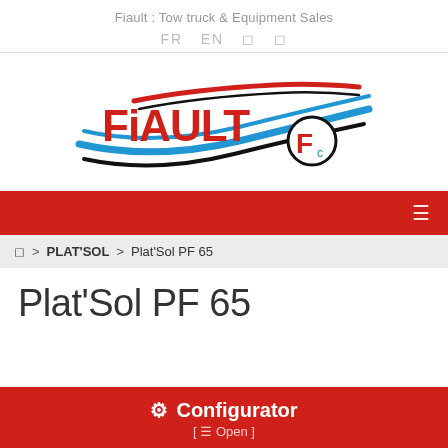Fiault : Tow truck & Equipment Sales
FR  EN
[Figure (logo): Fiault company logo with red bold text 'FiAULT', blue and black swoosh lines, and circular emblem with 'F' letter]
☰
🏠 > PLAT'SOL > Plat'Sol PF 65
Plat'Sol PF 65
⚙ Configurator [ ☰ Open ]